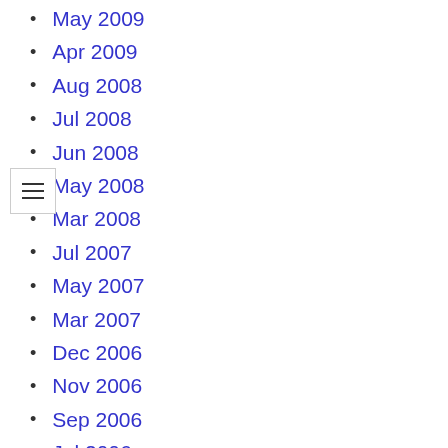May 2009
Apr 2009
Aug 2008
Jul 2008
Jun 2008
May 2008
Mar 2008
Jul 2007
May 2007
Mar 2007
Dec 2006
Nov 2006
Sep 2006
Jul 2006
May 2006
Mar 2006
Dec 2005
Nov 2005